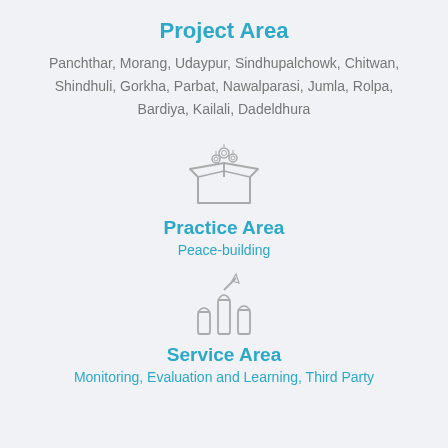Project Area
Panchthar, Morang, Udaypur, Sindhupalchowk, Chitwan, Shindhuli, Gorkha, Parbat, Nawalparasi, Jumla, Rolpa, Bardiya, Kailali, Dadeldhura
[Figure (illustration): Line art icon of an open box with items coming out of it]
Practice Area
Peace-building
[Figure (illustration): Line art icon of raised hands with a pointing finger]
Service Area
Monitoring, Evaluation and Learning, Third Party